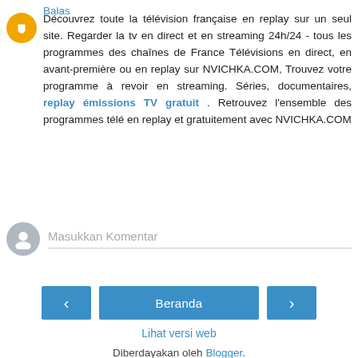Découvrez toute la télévision française en replay sur un seul site. Regarder la tv en direct et en streaming 24h/24 - tous les programmes des chaînes de France Télévisions en direct, en avant-première ou en replay sur NVICHKA.COM, Trouvez votre programme à revoir en streaming. Séries, documentaires, replay émissions TV gratuit . Retrouvez l'ensemble des programmes télé en replay et gratuitement avec NVICHKA.COM
Balas
Masukkan Komentar
Beranda
Lihat versi web
Diberdayakan oleh Blogger.